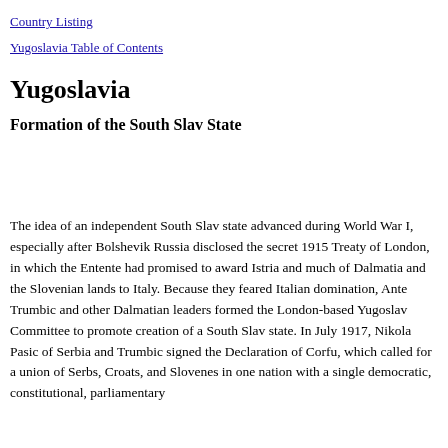Country Listing
Yugoslavia Table of Contents
Yugoslavia
Formation of the South Slav State
The idea of an independent South Slav state advanced during World War I, especially after Bolshevik Russia disclosed the secret 1915 Treaty of London, in which the Entente had promised to award Istria and much of Dalmatia and the Slovenian lands to Italy. Because they feared Italian domination, Ante Trumbic and other Dalmatian leaders formed the London-based Yugoslav Committee to promote creation of a South Slav state. In July 1917, Nikola Pasic of Serbia and Trumbic signed the Declaration of Corfu, which called for a union of Serbs, Croats, and Slovenes in one nation with a single democratic, constitutional, parliamentary